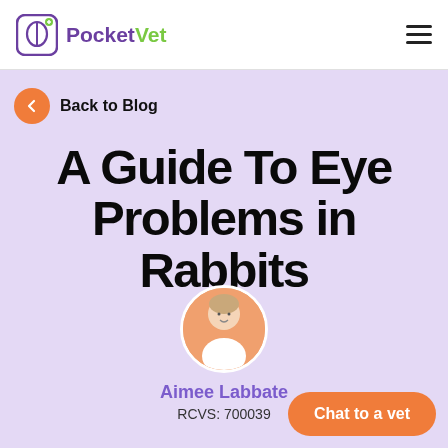PocketVet
Back to Blog
A Guide To Eye Problems in Rabbits
[Figure (photo): Circular profile photo of Aimee Labbate, a woman in a white medical uniform against an orange background]
Aimee Labbate
RCVS: 700039
Chat to a vet